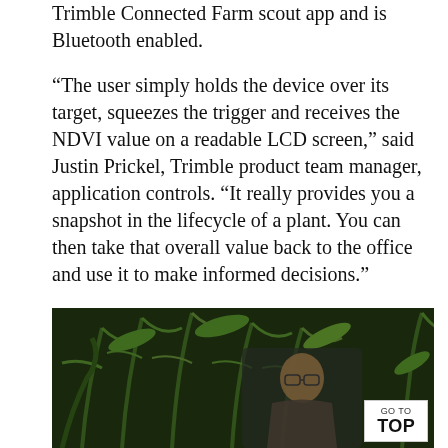Trimble Connected Farm scout app and is Bluetooth enabled.
“The user simply holds the device over its target, squeezes the trigger and receives the NDVI value on a readable LCD screen,” said Justin Prickel, Trimble product team manager, application controls. “It really provides you a snapshot in the lifecycle of a plant. You can then take that overall value back to the office and use it to make informed decisions.”
[Figure (photo): A person standing among tall corn or crop plants, partially visible behind the foliage. A white 'GO TO TOP' navigation button appears in the lower right corner of the image.]